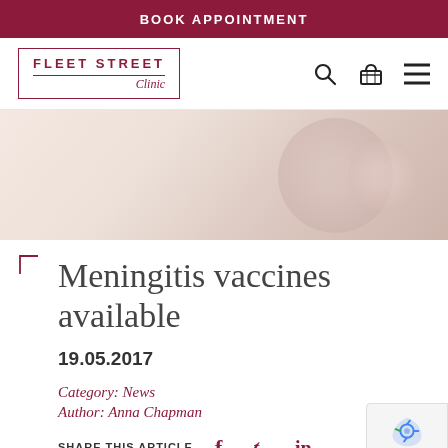BOOK APPOINTMENT
[Figure (logo): Fleet Street Clinic logo with bordered box, text 'FLEET STREET' and italic 'Clinic' beneath a dividing line]
[Figure (photo): Blurred soft-focus hero background image in warm beige/rose tones, depicting a medical or clinical setting]
Meningitis vaccines available
19.05.2017
Category: News
Author: Anna Chapman
SHARE THIS ARTICLE